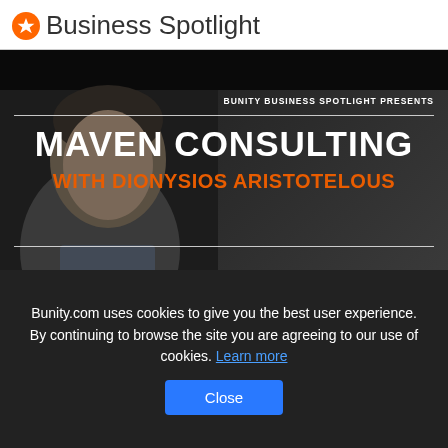Business Spotlight
[Figure (screenshot): Video thumbnail for 'Maven Consulting with Dionysios Aristotelous' – Bunity Business Spotlight Presents. Shows a man's face in black and white with bold white text reading MAVEN CONSULTING and orange text reading WITH DIONYSIOS ARISTOTELOUS, and the word CYPRUS in the lower right.]
Bunity.com uses cookies to give you the best user experience. By continuing to browse the site you are agreeing to our use of cookies. Learn more
Close